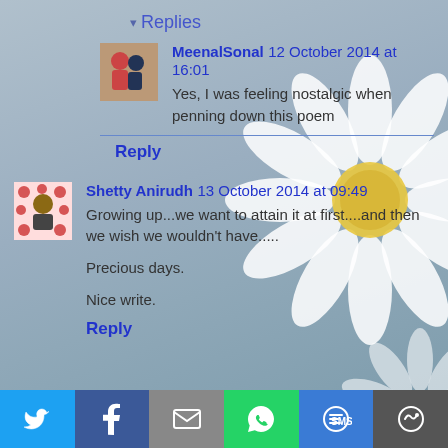▾ Replies
MeenalSonal 12 October 2014 at 16:01
Yes, I was feeling nostalgic when penning down this poem
Reply
Shetty Anirudh 13 October 2014 at 09:49
Growing up...we want to attain it at first....and then we wish we wouldn't have.....

Precious days.

Nice write.
Reply